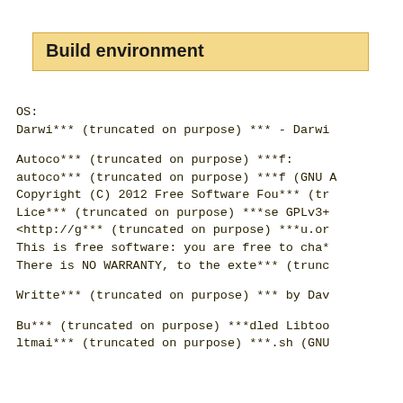Build environment
OS:
Darwi*** (truncated on purpose) *** - Darwi

Autoco*** (truncated on purpose) ***f:
autoco*** (truncated on purpose) ***f (GNU A
Copyright (C) 2012 Free Software Fou*** (tr
Lice*** (truncated on purpose) ***se GPLv3+
<http://g*** (truncated on purpose) ***u.or
This is free software: you are free to cha*
There is NO WARRANTY, to the exte*** (trunc

Writte*** (truncated on purpose) *** by Dav

Bu*** (truncated on purpose) ***dled Libtoo
ltmai*** (truncated on purpose) ***.sh (GNU